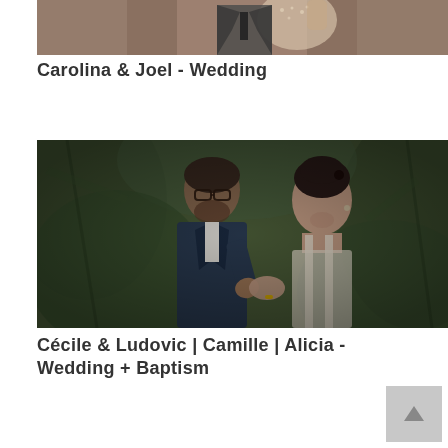[Figure (photo): Partial wedding photo at top showing bride in lace dress and groom]
Carolina & Joel - Wedding
[Figure (photo): Couple Cécile & Ludovic at wedding, man in dark suit with glasses kissing woman's hands, green foliage background]
Cécile & Ludovic | Camille | Alicia - Wedding + Baptism